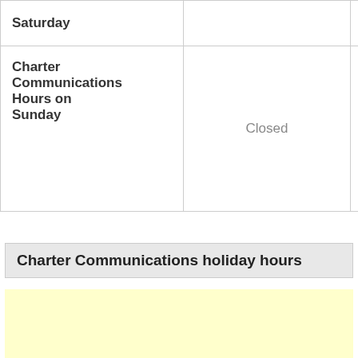| Saturday |  |  |
| Charter Communications Hours on Sunday | Closed | Cl |
Charter Communications holiday hours
[Figure (other): Yellow advertisement box]